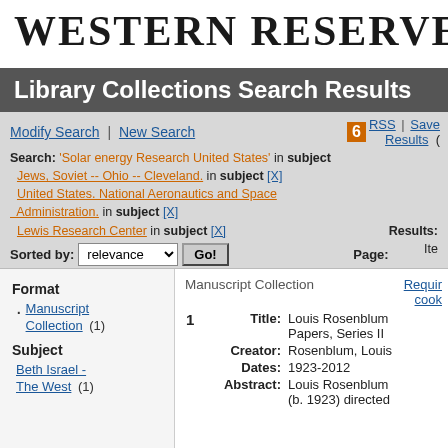WESTERN RESERVE
Library Collections Search Results
Modify Search | New Search    RSS | Save Results (
Search: 'Solar energy Research United States' in subject  Jews, Soviet -- Ohio -- Cleveland. in subject [X]  United States. National Aeronautics and Space Administration. in subject [X]  Lewis Research Center in subject [X]   Results: Items
Sorted by: relevance  Go!   Page:
Format
Manuscript Collection  (1)
Subject
Beth Israel - The West  (1)
Manuscript Collection   Requires cook
| # | Field | Value |
| --- | --- | --- |
| 1 | Title: | Louis Rosenblum Papers, Series II |
|  | Creator: | Rosenblum, Louis |
|  | Dates: | 1923-2012 |
|  | Abstract: | Louis Rosenblum (b. 1923) directed |